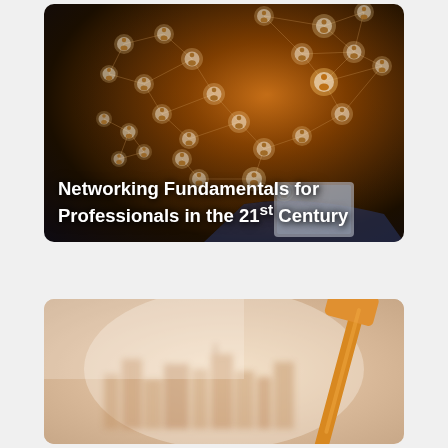[Figure (photo): Dark background photo of a professional holding a tablet device, overlaid with a glowing network of connected human avatar nodes forming a world map / social network visualization. Text overlay reads 'Networking Fundamentals for Professionals in the 21st Century'.]
Networking Fundamentals for Professionals in the 21st Century
[Figure (photo): Light-toned photo with a warm beige/orange color wash showing a blurred city skyline in the background and what appears to be an orange paint roller or construction tool in the foreground right side.]